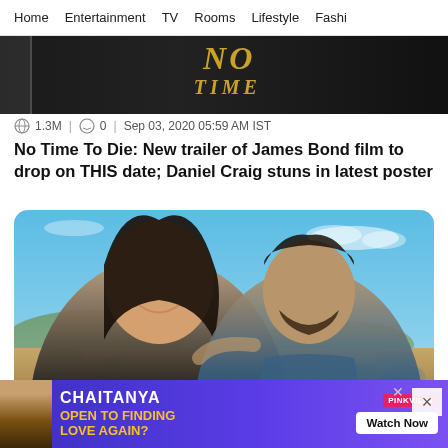Home | Entertainment | TV | Rooms | Lifestyle | Fashi...
[Figure (photo): Partial image showing No Time To Die movie poster with gold text on dark background]
1.3M | 0 | Sep 03, 2020 05:59 AM IST
No Time To Die: New trailer of James Bond film to drop on THIS date; Daniel Craig stuns in latest poster
[Figure (photo): Outdoor desert selfie photo of a smiling woman with dark hair and a bearded man in a blue t-shirt, with desert landscape and blue sky in background]
[Figure (other): Advertisement banner: CHAITANYA - OPEN TO FINDING LOVE AGAIN? with Watch Now button and PinkVilla branding]